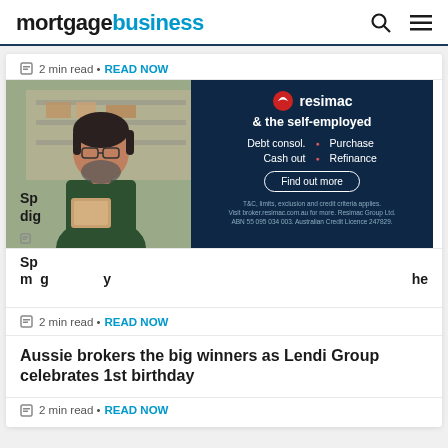mortgagebusiness
2 min read • READ NOW
[Figure (screenshot): Resimac advertisement overlay on photo of man. Ad reads: resimac & the self-employed. Debt consol. Purchase Cash out Refinance. Find out more. T&C, limits, exclusion and credit criteria applies. Visit broker.resimac.com.au for more. Resimac Group Ltd. ABN 55 095 034 003. Australian Credit Licence 247829.]
Sp... dig...
2 min read • READ NOW
Sp... m... y...
2 min read • READ NOW
Aussie brokers the big winners as Lendi Group celebrates 1st birthday
2 min read • READ NOW